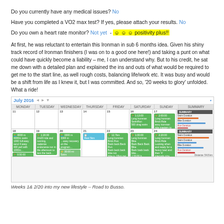Do you currently have any medical issues? No
Have you completed a VO2 max test? If yes, please attach your results. No
Do you own a heart rate monitor? Not yet  - ☺ ☺ ☺ positivity plus!!
At first, he was reluctant to entertain this Ironman in sub 6 months idea. Given his shiny track record of Ironman finishers (I was on to a good one here!) and taking a punt on what could have quickly become a liability – me, I can understand why. But to his credit, he sat me down with a detailed plan and explained the ins and outs of what would be required to get me to the start line, as well rough costs, balancing life/work etc. It was busy and would be a shift from life as I knew it, but I was committed. And so, '20 weeks to glory' unfolded. What a ride!
[Figure (screenshot): Calendar screenshot showing July 2016 training schedule - Weeks 1 and 2/20 Road to Busso, with green training events across days including swim, bike, and run sessions, plus weekly summary panels on the right.]
Weeks 1& 2/20 into my new lifestyle – Road to Busso.